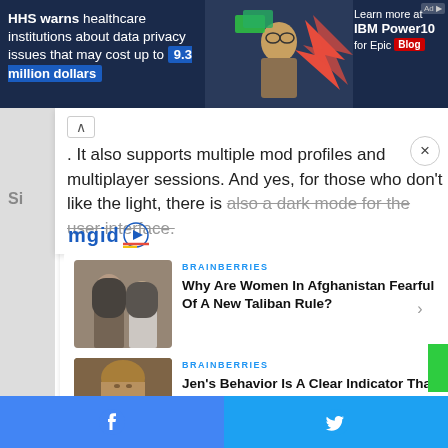[Figure (screenshot): Top advertisement banner with dark navy background showing HHS healthcare data privacy warning text, person in center, flame graphics, and IBM Power10 for Epic Blog promotion on right]
. It also supports multiple mod profiles and multiplayer sessions. And yes, for those who don't like the light, there is also a dark mode for the user interface.
[Figure (logo): MGID logo with blue text and play button icon]
[Figure (screenshot): BRAINBERRIES card: Why Are Women In Afghanistan Fearful Of A New Taliban Rule? with photo of women in hijab]
[Figure (screenshot): BRAINBERRIES card: Jen's Behavior Is A Clear Indicator That She's Not Approachable with photo of Jennifer Aniston]
Facebook share button | Twitter share button